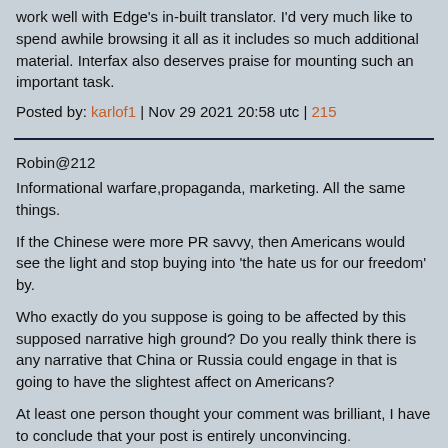work well with Edge's in-built translator. I'd very much like to spend awhile browsing it all as it includes so much additional material. Interfax also deserves praise for mounting such an important task.
Posted by: karlof1 | Nov 29 2021 20:58 utc | 215
Robin@212
Informational warfare,propaganda, marketing. All the same things.
If the Chinese were more PR savvy, then Americans would see the light and stop buying into 'the hate us for our freedom' by.
Who exactly do you suppose is going to be affected by this supposed narrative high ground? Do you really think there is any narrative that China or Russia could engage in that is going to have the slightest affect on Americans?
At least one person thought your comment was brilliant, I have to conclude that your post is entirely unconvincing.
Posted by: David F | Nov 29 2021 20:59 utc | 216
David F @216